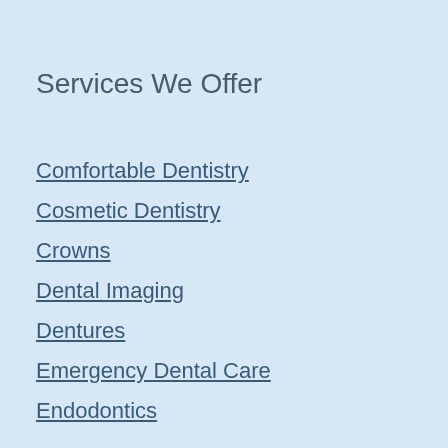Services We Offer
Comfortable Dentistry
Cosmetic Dentistry
Crowns
Dental Imaging
Dentures
Emergency Dental Care
Endodontics
Implants
Invisalign
Oral Health
Oral Surgery
Orthodontics